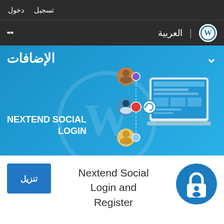تسجيل  دخول
العربية | WordPress
[Figure (screenshot): WordPress plugin directory banner for Nextend Social Login showing social network connection diagram and laptop mockup on blue background with Arabic header الإضافات]
Nextend Social Login and Register
[Figure (logo): Nextend Social Login and Register plugin icon showing a padlock with a person silhouette on a blue circular background]